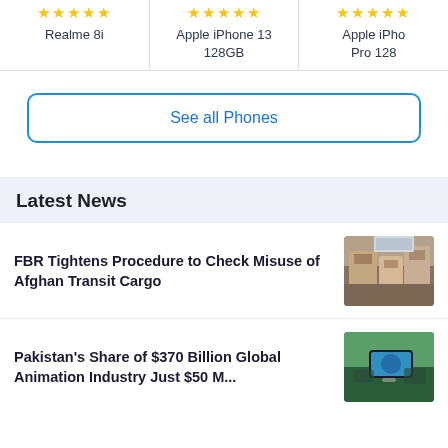Realme 8i
Apple iPhone 13 128GB
Apple iPhone Pro 128
See all Phones
Latest News
FBR Tightens Procedure to Check Misuse of Afghan Transit Cargo
Pakistan's Share of $370 Billion Global Animation Industry Just $50 M...